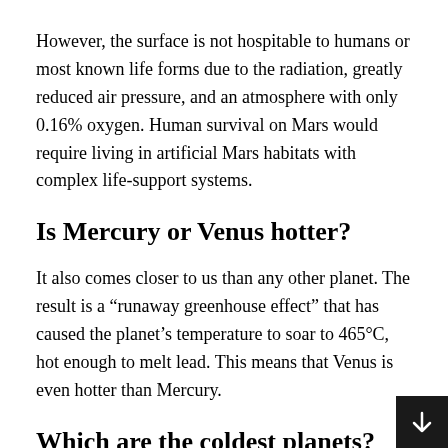However, the surface is not hospitable to humans or most known life forms due to the radiation, greatly reduced air pressure, and an atmosphere with only 0.16% oxygen. Human survival on Mars would require living in artificial Mars habitats with complex life-support systems.
Is Mercury or Venus hotter?
It also comes closer to us than any other planet. The result is a “runaway greenhouse effect” that has caused the planet’s temperature to soar to 465°C, hot enough to melt lead. This means that Venus is even hotter than Mercury.
Which are the coldest planets?
Neptune, being the eighth planet in our solar syste